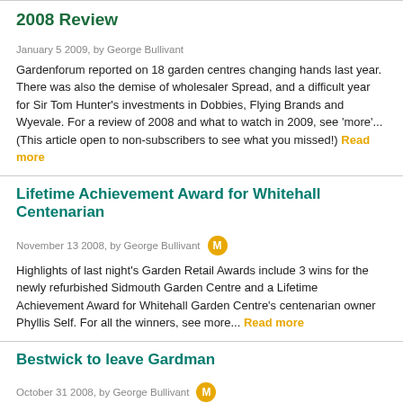2008 Review
January 5 2009, by George Bullivant
Gardenforum reported on 18 garden centres changing hands last year. There was also the demise of wholesaler Spread, and a difficult year for Sir Tom Hunter's investments in Dobbies, Flying Brands and Wyevale. For a review of 2008 and what to watch in 2009, see ‘more’... (This article open to non-subscribers to see what you missed!) Read more
Lifetime Achievement Award for Whitehall Centenarian
November 13 2008, by George Bullivant
Highlights of last night's Garden Retail Awards include 3 wins for the newly refurbished Sidmouth Garden Centre and a Lifetime Achievement Award for Whitehall Garden Centre's centenarian owner Phyllis Self. For all the winners, see more... Read more
Bestwick to leave Gardman
October 31 2008, by George Bullivant
Managing director, Andy Bestwick, is to leave Gardman in January. For the time being, his role will be covered by the company's new Chief Executive, Mark Pearson, who starts next week. See more… Read more